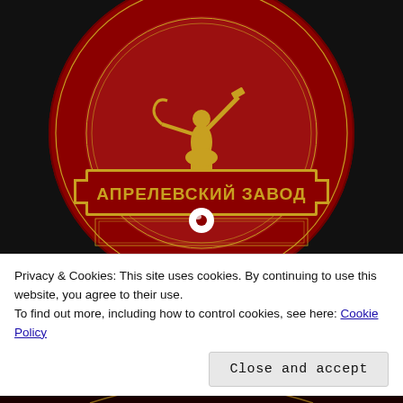[Figure (photo): A red vinyl record label from Апрелевский Завод (Aprelevka Factory), Soviet Union. The label is dark red with gold/yellow design featuring the Worker and Kolkhoz Woman statue (a figure holding a hammer and sickle aloft). Below the statue is a rectangular banner reading 'АПРЕЛЕВСКИЙ ЗАВОД' in gold Cyrillic letters. The record has a white center hole. The image is cropped to show roughly the top 2/3 of the record against a black background.]
Privacy & Cookies: This site uses cookies. By continuing to use this website, you agree to their use.
To find out more, including how to control cookies, see here: Cookie Policy
[Figure (photo): Bottom strip showing partial view of another record label with Cyrillic text partially visible: 'ИСКУССТА ПРИ СОВ...' on a dark background with yellow/gold lettering.]